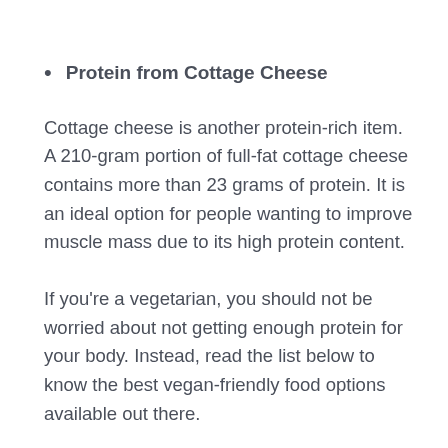Protein from Cottage Cheese
Cottage cheese is another protein-rich item. A 210-gram portion of full-fat cottage cheese contains more than 23 grams of protein. It is an ideal option for people wanting to improve muscle mass due to its high protein content.
If you’re a vegetarian, you should not be worried about not getting enough protein for your body. Instead, read the list below to know the best vegan-friendly food options available out there.